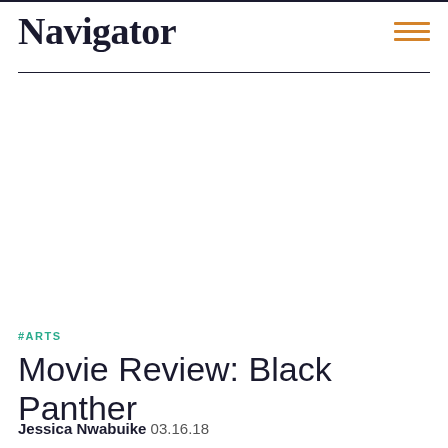Navigator
#ARTS
Movie Review: Black Panther
Jessica Nwabuike 03.16.18